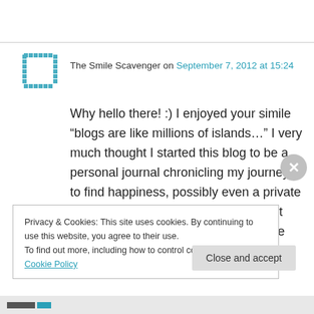[Figure (logo): Circular avatar icon with teal/green pixel pattern border]
The Smile Scavenger on September 7, 2012 at 15:24
Why hello there! :) I enjoyed your simile “blogs are like millions of islands…” I very much thought I started this blog to be a personal journal chronicling my journey to find happiness, possibly even a private journal. I made the decision to make it public on a whim and I’m SO glad! I’ve discovered so many new people,
Privacy & Cookies: This site uses cookies. By continuing to use this website, you agree to their use.
To find out more, including how to control cookies, see here: Cookie Policy
Close and accept